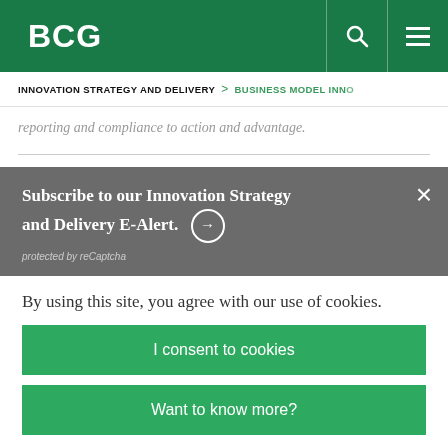BCG
INNOVATION STRATEGY AND DELIVERY > BUSINESS MODEL INNO
reporting and compliance to action and advantage.
Subscribe to our Innovation Strategy and Delivery E-Alert. →
protected by reCaptcha
By using this site, you agree with our use of cookies.
I consent to cookies
Want to know more?
Read our Cookie Policy